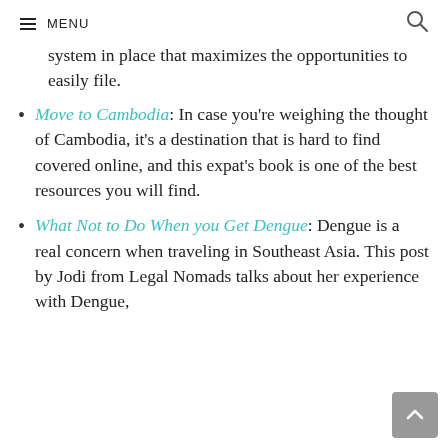≡ MENU
system in place that maximizes the opportunities to easily file.
Move to Cambodia: In case you're weighing the thought of Cambodia, it's a destination that is hard to find covered online, and this expat's book is one of the best resources you will find.
What Not to Do When you Get Dengue: Dengue is a real concern when traveling in Southeast Asia. This post by Jodi from Legal Nomads talks about her experience with Dengue,